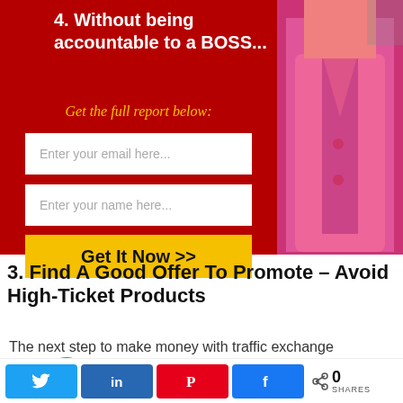[Figure (photo): Red banner with form fields and a person in a pink/red jacket on the right side]
4. Without being accountable to a BOSS...
Get the full report below:
[Figure (screenshot): Email input field placeholder: Enter your email here...]
[Figure (screenshot): Name input field placeholder: Enter your name here...]
[Figure (screenshot): Yellow CTA button: Get It Now >>]
3. Find A Good Offer To Promote – Avoid High-Ticket Products
The next step to make money with traffic exchange
[Figure (infographic): Social share bar with Twitter, LinkedIn, Pinterest, Facebook buttons and share count of 0]